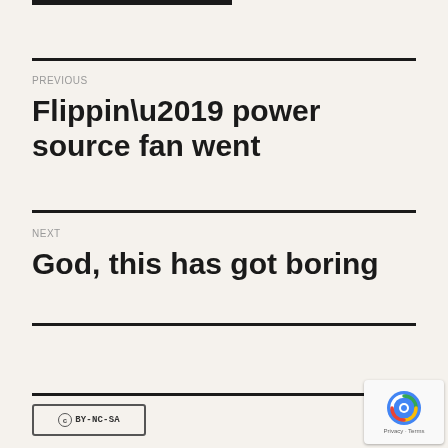PREVIOUS
Flippin’ power source fan went
NEXT
God, this has got boring
[Figure (logo): Creative Commons BY-NC-SA license badge]
[Figure (screenshot): reCAPTCHA privacy widget overlay in bottom right corner]